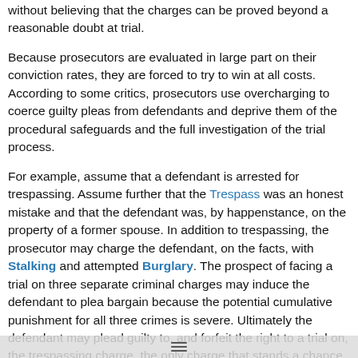without believing that the charges can be proved beyond a reasonable doubt at trial.
Because prosecutors are evaluated in large part on their conviction rates, they are forced to try to win at all costs. According to some critics, prosecutors use overcharging to coerce guilty pleas from defendants and deprive them of the procedural safeguards and the full investigation of the trial process.
For example, assume that a defendant is arrested for trespassing. Assume further that the Trespass was an honest mistake and that the defendant was, by happenstance, on the property of a former spouse. In addition to trespassing, the prosecutor may charge the defendant, on the facts, with Stalking and attempted Burglary. The prospect of facing a trial on three separate criminal charges may induce the defendant to plea bargain because the potential cumulative punishment for all three crimes is severe. Ultimately the defendant may plead guilty to, and forfeit the right to a trial on, the trespassing charge, the only charge that stands a chance of being proved beyond a reasonable doubt. Such a plea bargain, claim some critics, is an illusory bargain for criminal defendants.
The practice of overcharging is impermissible, and courts may dismiss